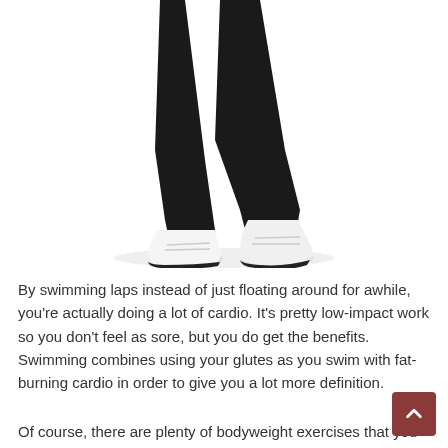[Figure (photo): Lower body of a person wearing black leggings and white sneakers on a white background]
By swimming laps instead of just floating around for awhile, you're actually doing a lot of cardio. It's pretty low-impact work so you don't feel as sore, but you do get the benefits. Swimming combines using your glutes as you swim with fat-burning cardio in order to give you a lot more definition.
Of course, there are plenty of bodyweight exercises that you can